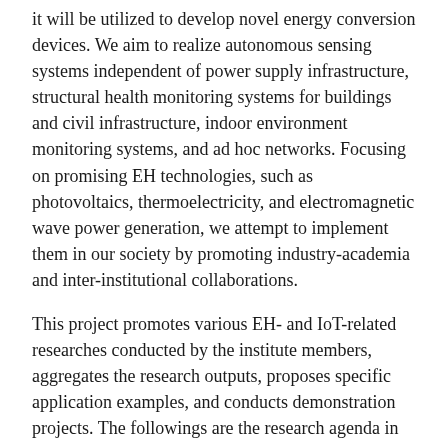it will be utilized to develop novel energy conversion devices. We aim to realize autonomous sensing systems independent of power supply infrastructure, structural health monitoring systems for buildings and civil infrastructure, indoor environment monitoring systems, and ad hoc networks. Focusing on promising EH technologies, such as photovoltaics, thermoelectricity, and electromagnetic wave power generation, we attempt to implement them in our society by promoting industry-academia and inter-institutional collaborations.
This project promotes various EH- and IoT-related researches conducted by the institute members, aggregates the research outputs, proposes specific application examples, and conducts demonstration projects. The followings are the research agenda in this term:
1) Making a catalog of potential specs of each EH technology to decide a road map for each material and device
2) Proposing how to implement the EH technologies into society, taking into account the weak and unstable nature of